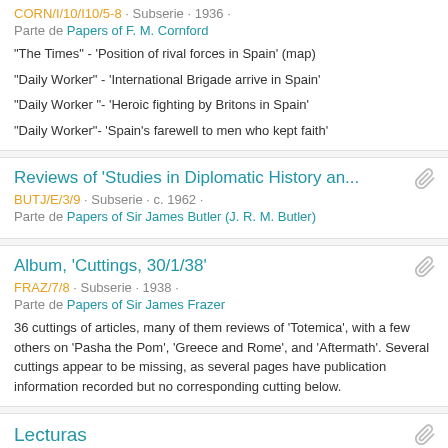CORN/I/10/I10/5-8 · Subserie · 1936 · Parte de Papers of F. M. Cornford
"The Times" - 'Position of rival forces in Spain' (map)
"Daily Worker" - 'International Brigade arrive in Spain'
"Daily Worker "- 'Heroic fighting by Britons in Spain'
"Daily Worker"- 'Spain's farewell to men who kept faith'
Reviews of 'Studies in Diplomatic History an...
BUTJ/E/3/9 · Subserie · c. 1962 · Parte de Papers of Sir James Butler (J. R. M. Butler)
Album, 'Cuttings, 30/1/38'
FRAZ/7/8 · Subserie · 1938 · Parte de Papers of Sir James Frazer
36 cuttings of articles, many of them reviews of 'Totemica', with a few others on 'Pasha the Pom', 'Greece and Rome', and 'Aftermath'. Several cuttings appear to be missing, as several pages have publication information recorded but no corresponding cutting below.
Lecturas